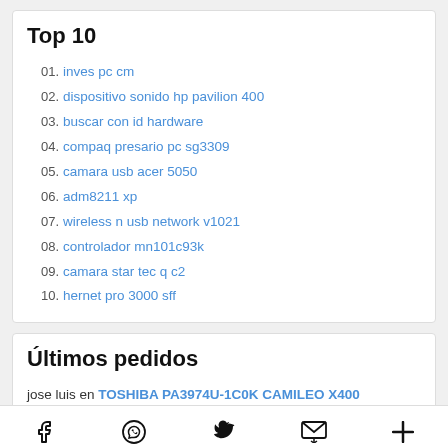Top 10
01. inves pc cm
02. dispositivo sonido hp pavilion 400
03. buscar con id hardware
04. compaq presario pc sg3309
05. camara usb acer 5050
06. adm8211 xp
07. wireless n usb network v1021
08. controlador mn101c93k
09. camara star tec q c2
10. hernet pro 3000 sff
Últimos pedidos
jose luis en TOSHIBA PA3974U-1C0K CAMILEO X400
2:06, 23.07.18
Social icons bar: Facebook, WhatsApp, Twitter, Email, Plus